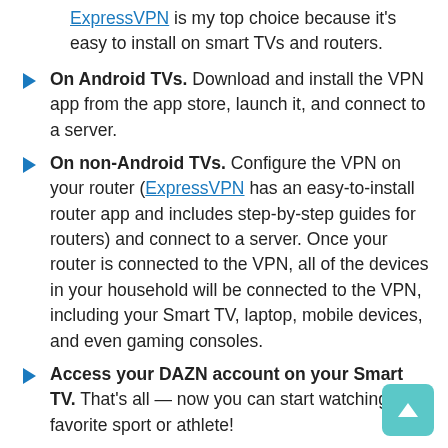ExpressVPN is my top choice because it's easy to install on smart TVs and routers.
On Android TVs. Download and install the VPN app from the app store, launch it, and connect to a server.
On non-Android TVs. Configure the VPN on your router (ExpressVPN has an easy-to-install router app and includes step-by-step guides for routers) and connect to a server. Once your router is connected to the VPN, all of the devices in your household will be connected to the VPN, including your Smart TV, laptop, mobile devices, and even gaming consoles.
Access your DAZN account on your Smart TV. That's all — now you can start watching your favorite sport or athlete!